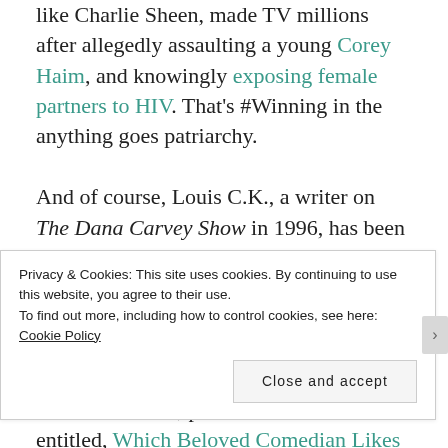like Charlie Sheen, made TV millions after allegedly assaulting a young Corey Haim, and knowingly exposing female partners to HIV. That's #Winning in the anything goes patriarchy.

And of course, Louis C.K., a writer on The Dana Carvey Show in 1996, has been running around with his dick in hand for over 20 years. His own work made no attempt to camouflage it, and still he kept rising (pun acknowledged, if not intended). In March 2012, now-defunct website Gawker, published a blind item entitled, Which Beloved Comedian Likes to Force Female Comics to Watch Him
Privacy & Cookies: This site uses cookies. By continuing to use this website, you agree to their use.
To find out more, including how to control cookies, see here: Cookie Policy